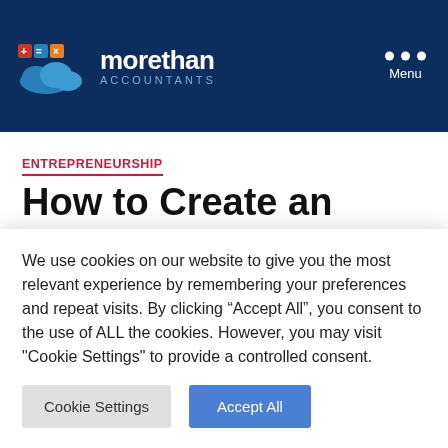morethan ACCOUNTANTS
ENTREPRENEURSHIP
How to Create an Empowering Vision Book
We use cookies on our website to give you the most relevant experience by remembering your preferences and repeat visits. By clicking “Accept All”, you consent to the use of ALL the cookies. However, you may visit "Cookie Settings" to provide a controlled consent.